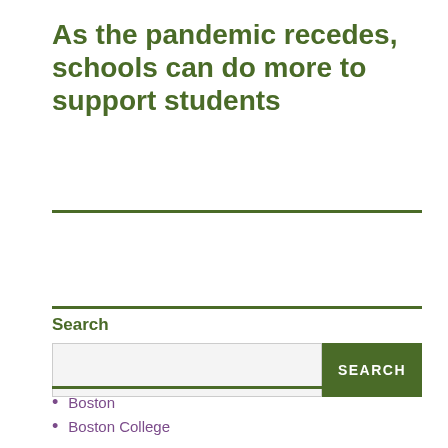As the pandemic recedes, schools can do more to support students
Search
Boston
Boston College